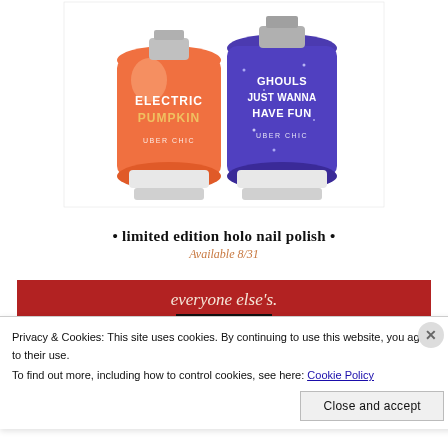[Figure (photo): Two nail polish bottles side by side. Left bottle is orange labeled 'ELECTRIC PUMPKIN UBER CHIC'. Right bottle is purple/blue glitter labeled 'GHOULS JUST WANNA HAVE FUN UBER CHIC'.]
• limited edition holo nail polish •
Available 8/31
everyone else's.
Start reading
Privacy & Cookies: This site uses cookies. By continuing to use this website, you agree to their use.
To find out more, including how to control cookies, see here: Cookie Policy
Close and accept